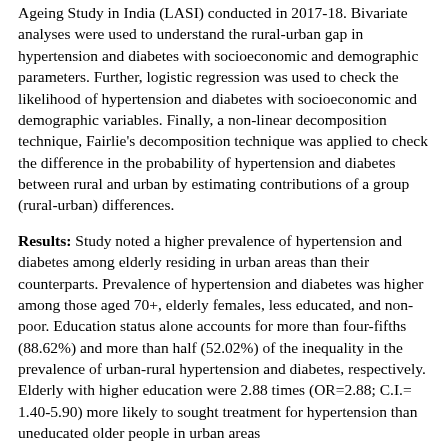Ageing Study in India (LASI) conducted in 2017-18. Bivariate analyses were used to understand the rural-urban gap in hypertension and diabetes with socioeconomic and demographic parameters. Further, logistic regression was used to check the likelihood of hypertension and diabetes with socioeconomic and demographic variables. Finally, a non-linear decomposition technique, Fairlie's decomposition technique was applied to check the difference in the probability of hypertension and diabetes between rural and urban by estimating contributions of a group (rural-urban) differences.
Results: Study noted a higher prevalence of hypertension and diabetes among elderly residing in urban areas than their counterparts. Prevalence of hypertension and diabetes was higher among those aged 70+, elderly females, less educated, and non-poor. Education status alone accounts for more than four-fifths (88.62%) and more than half (52.02%) of the inequality in the prevalence of urban-rural hypertension and diabetes, respectively. Elderly with higher education were 2.88 times (OR=2.88; C.I.= 1.40-5.90) more likely to sought treatment for hypertension than uneducated older people in urban areas
Conclusion: Since treatment-seeking is relatively low among elderly in poor households, practices must be identified for a poverty-stricken elderly population to overcome the financial barriers that may prevent the elderly from seeking and complying